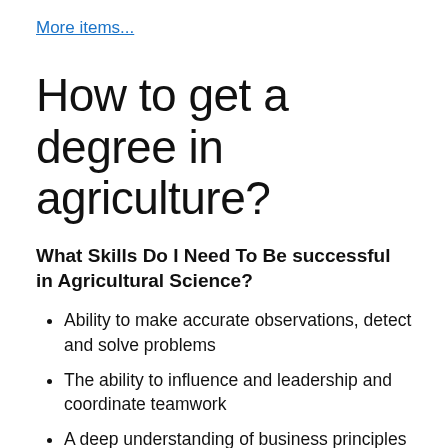More items...
How to get a degree in agriculture?
What Skills Do I Need To Be successful in Agricultural Science?
Ability to make accurate observations, detect and solve problems
The ability to influence and leadership and coordinate teamwork
A deep understanding of business principles
Computer and Information Technology